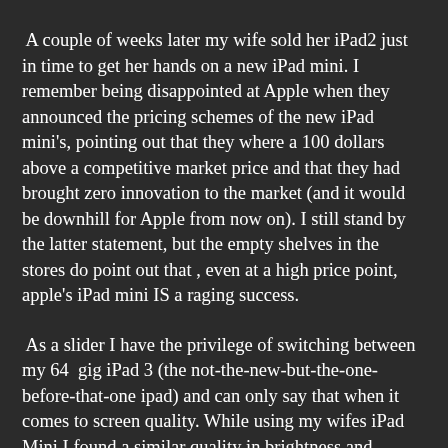A couple of weeks later my wife sold her iPad2 just in time to get her hands on a new iPad mini. I remember being disappointed at Apple when they announced the pricing schemes of the new iPad mini's, pointing out that they where a 100 dollars above a competitive market price and that they had brought zero innovation to the market (and it would be downhill for Apple from now on). I still stand by the latter statement, but the empty shelves in the stores do point out that , even at a high price point, apple's iPad mini IS a raging success.
As a slider I have the privilege of switching between my 64  gig iPad 3 (the not-the-new-but-the-one-before-that-one ipad) and can only say that when it comes to screen quality. While using my wifes iPad Mini I found a similar quality in brightness and crispness of images. Sure, it is no retina display, but on a 7 inch screen I don't